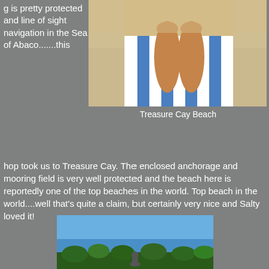g is pretty protected and line of sight navigation in the Sea of Abaco.......this
[Figure (photo): Close-up photo of person's legs and feet on a blue and white striped beach chair or towel, with sandy beach in background]
Treasure Cay Beach
hop took us to Treasure Cay.  The enclosed anchorage and mooring field is very well protected and the beach here is reportedly one of the top beaches in the world.  Top beach in the world....well that's quite a claim, but certainly very nice and Salty loved it!
[Figure (photo): Photo of a person on a beach with blue sky and trees in background]